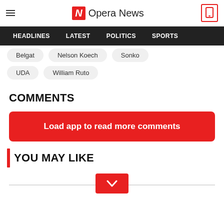Opera News
HEADLINES   LATEST   POLITICS   SPORTS
Belgat
Nelson Koech
Sonko
UDA
William Ruto
COMMENTS
Load app to read more comments
YOU MAY LIKE